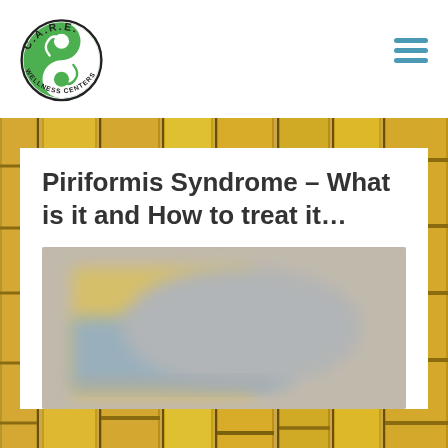[Figure (logo): C.A.R.E. Wellness Centers logo — circular green and white yin-yang symbol with text 'C.A.R.E.' arched above and 'WELLNESS CENTERS' arched below]
[Figure (other): Hamburger / navigation menu icon — three horizontal teal/blue lines]
[Figure (photo): Background photo of bamboo stalks, gold/yellow tones, spanning full page width]
Piriformis Syndrome – What is it and How to treat it…
[Figure (photo): Blurred/out-of-focus image of what appears to be an anatomical or medical illustration related to piriformis syndrome, with yellow and grey tones]